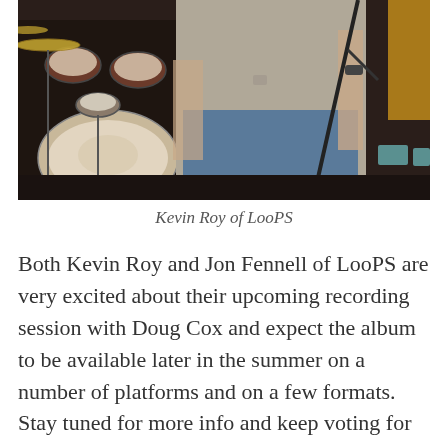[Figure (photo): A person in a grey t-shirt and jeans holding a microphone stand, standing in front of a drum kit. Musical equipment visible in the background.]
Kevin Roy of LooPS
Both Kevin Roy and Jon Fennell of LooPS are very excited about their upcoming recording session with Doug Cox and expect the album to be available later in the summer on a number of platforms and on a few formats. Stay tuned for more info and keep voting for